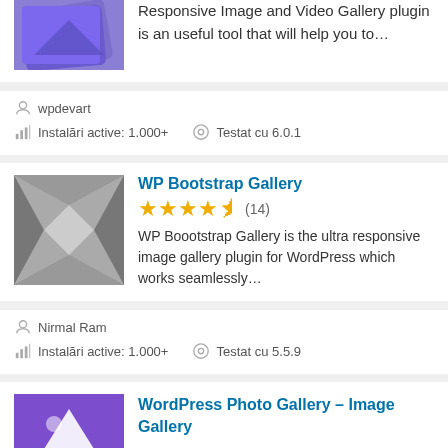Responsive Image and Video Gallery plugin is an useful tool that will help you to…
wpdevart
Instalări active: 1.000+
Testat cu 6.0.1
WP Bootstrap Gallery
★★★★½ (14)
WP Boootstrap Gallery is the ultra responsive image gallery plugin for WordPress which works seamlessly…
Nirmal Ram
Instalări active: 1.000+
Testat cu 5.5.9
WordPress Photo Gallery – Image Gallery